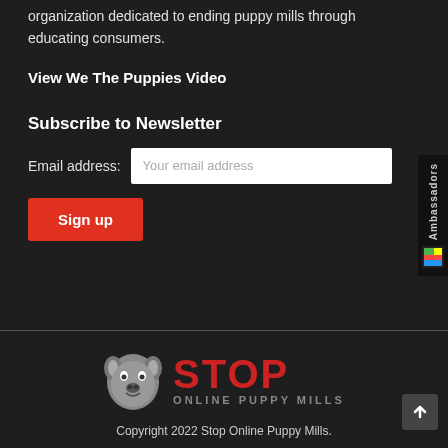organization dedicated to ending puppy mills through educating consumers.
View We The Puppies Video
Subscribe to Newsletter
Email address: [input field: Your email address]
Sign up
[Figure (logo): Stop Online Puppy Mills logo: a cartoon bulldog face next to bold red text STOP and gray text ONLINE PUPPY MILLS]
Copyright 2022 Stop Online Puppy Mills.